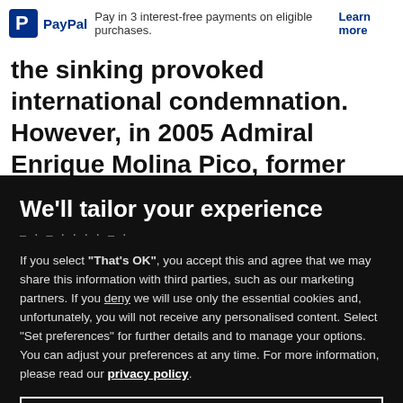PayPal — Pay in 3 interest-free payments on eligible purchases. Learn more
the sinking provoked international condemnation. However, in 2005 Admiral Enrique Molina Pico, former head of the Argentine Navy confirmed that the Belgrano
We'll tailor your experience
If you select "That's OK", you accept this and agree that we may share this information with third parties, such as our marketing partners. If you deny we will use only the essential cookies and, unfortunately, you will not receive any personalised content. Select "Set preferences" for further details and to manage your options. You can adjust your preferences at any time. For more information, please read our privacy policy.
Set preferences
That's OK